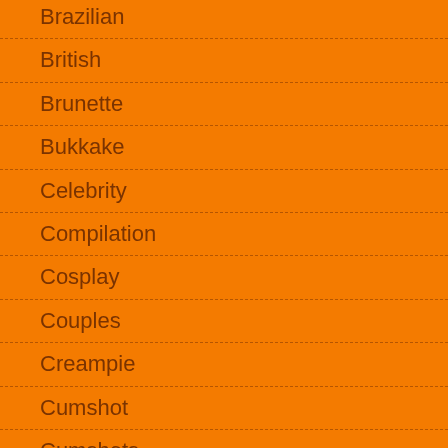Brazilian
British
Brunette
Bukkake
Celebrity
Compilation
Cosplay
Couples
Creampie
Cumshot
Cumshots
Czech
Ebony
Euro